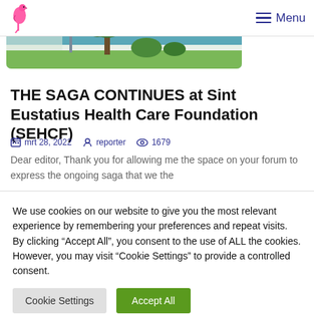Menu
[Figure (photo): Outdoor photo strip showing building exterior with garden/plants, partial view from top]
THE SAGA CONTINUES at Sint Eustatius Health Care Foundation (SEHCF)
mrt 28, 2022  reporter  1679
Dear editor, Thank you for allowing me the space on your forum to express the ongoing saga that we the
We use cookies on our website to give you the most relevant experience by remembering your preferences and repeat visits. By clicking “Accept All”, you consent to the use of ALL the cookies. However, you may visit “Cookie Settings” to provide a controlled consent.